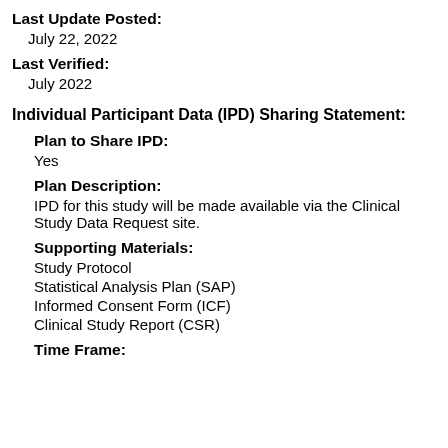Last Update Posted:
July 22, 2022
Last Verified:
July 2022
Individual Participant Data (IPD) Sharing Statement:
Plan to Share IPD:
Yes
Plan Description:
IPD for this study will be made available via the Clinical Study Data Request site.
Supporting Materials:
Study Protocol
Statistical Analysis Plan (SAP)
Informed Consent Form (ICF)
Clinical Study Report (CSR)
Time Frame: